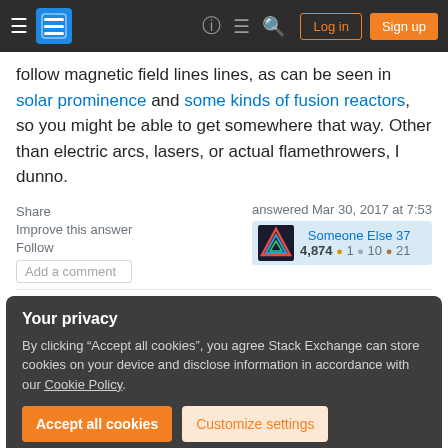Stack Exchange navigation bar with hamburger menu, logo, help, chat, search icons, Log in and Sign up buttons
follow magnetic field lines lines, as can be seen in solar prominence and some kinds of fusion reactors, so you might be able to get somewhere that way. Other than electric arcs, lasers, or actual flamethrowers, I dunno.
Share
Improve this answer
Follow
Add a comment
answered Mar 30, 2017 at 7:53
Someone Else 37
4,874  1  10  21
Your privacy
By clicking “Accept all cookies”, you agree Stack Exchange can store cookies on your device and disclose information in accordance with our Cookie Policy.
Accept all cookies    Customize settings
Maybe some predestination fun where this happens